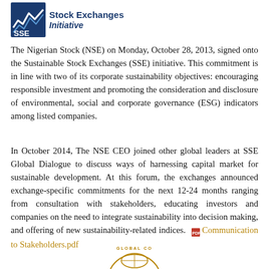[Figure (logo): Sustainable Stock Exchanges Initiative logo with SSE text and blue wave graphic]
The Nigerian Stock (NSE) on Monday, October 28, 2013, signed onto the Sustainable Stock Exchanges (SSE) initiative. This commitment is in line with two of its corporate sustainability objectives: encouraging responsible investment and promoting the consideration and disclosure of environmental, social and corporate governance (ESG) indicators among listed companies.
In October 2014, The NSE CEO joined other global leaders at SSE Global Dialogue to discuss ways of harnessing capital market for sustainable development. At this forum, the exchanges announced exchange-specific commitments for the next 12-24 months ranging from consultation with stakeholders, educating investors and companies on the need to integrate sustainability into decision making, and offering of new sustainability-related indices. Communication to Stakeholders.pdf
[Figure (logo): Partial circular logo at the bottom center of the page]